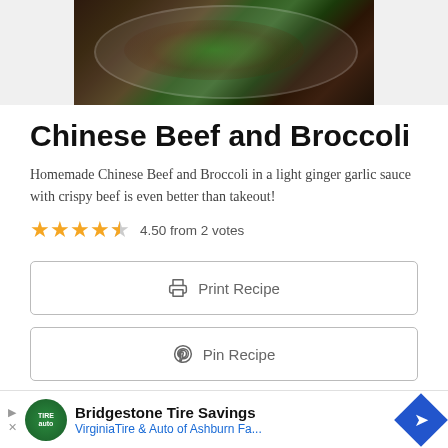[Figure (photo): Photo of Chinese Beef and Broccoli dish in a white plate with sesame seeds on top, viewed from above with chopsticks visible]
Chinese Beef and Broccoli
Homemade Chinese Beef and Broccoli in a light ginger garlic sauce with crispy beef is even better than takeout!
4.50 from 2 votes
Print Recipe
Pin Recipe
Bridgestone Tire Savings VirginiaTire & Auto of Ashburn Fa...